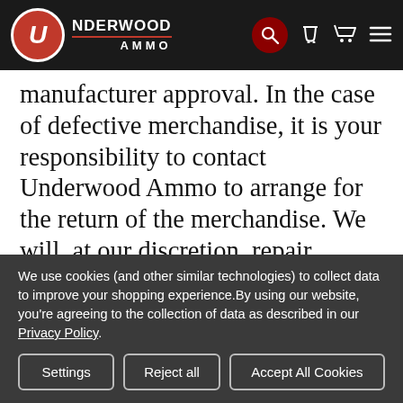Underwood Ammo navigation bar with logo, search, phone, cart, and menu icons
manufacturer approval. In the case of defective merchandise, it is your responsibility to contact Underwood Ammo to arrange for the return of the merchandise. We will, at our discretion, repair, replace, or refund the purchase price of any defective part or product covered by our warranty when it is returned by the original consumer, with proof of purchase and an assigned Return
We use cookies (and other similar technologies) to collect data to improve your shopping experience.By using our website, you're agreeing to the collection of data as described in our Privacy Policy.
Settings
Reject all
Accept All Cookies